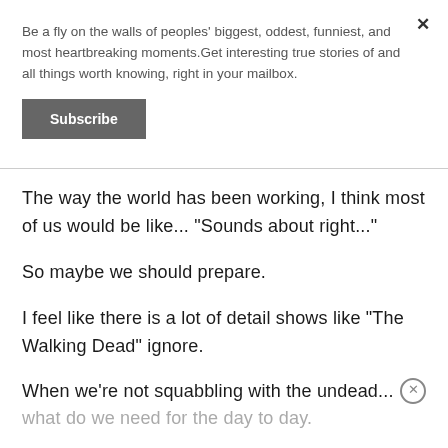Be a fly on the walls of peoples' biggest, oddest, funniest, and most heartbreaking moments.Get interesting true stories of and all things worth knowing, right in your mailbox.
Subscribe
The way the world has been working, I think most of us would be like... "Sounds about right..."
So maybe we should prepare.
I feel like there is a lot of detail shows like "The Walking Dead" ignore.
When we're not squabbling with the undead...
what do we need for the day to day.